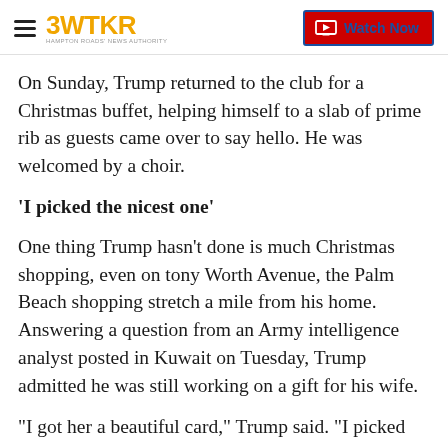3WTKR — Watch Now
On Sunday, Trump returned to the club for a Christmas buffet, helping himself to a slab of prime rib as guests came over to say hello. He was welcomed by a choir.
'I picked the nicest one'
One thing Trump hasn't done is much Christmas shopping, even on tony Worth Avenue, the Palm Beach shopping stretch a mile from his home. Answering a question from an Army intelligence analyst posted in Kuwait on Tuesday, Trump admitted he was still working on a gift for his wife.
"I got her a beautiful card," Trump said. "I picked the nicest one."